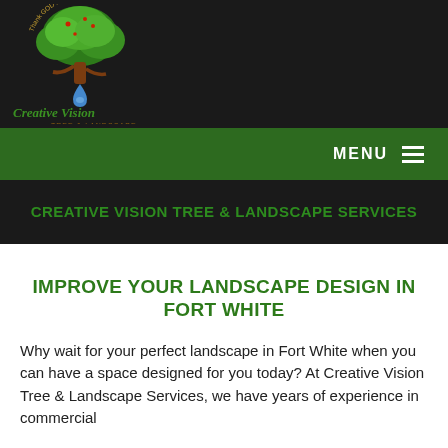[Figure (logo): Creative Vision Tree & Landscape logo with a green tree illustration and script text on dark background]
MENU
CREATIVE VISION TREE & LANDSCAPE SERVICES
IMPROVE YOUR LANDSCAPE DESIGN IN FORT WHITE
Why wait for your perfect landscape in Fort White when you can have a space designed for you today? At Creative Vision Tree & Landscape Services, we have years of experience in commercial